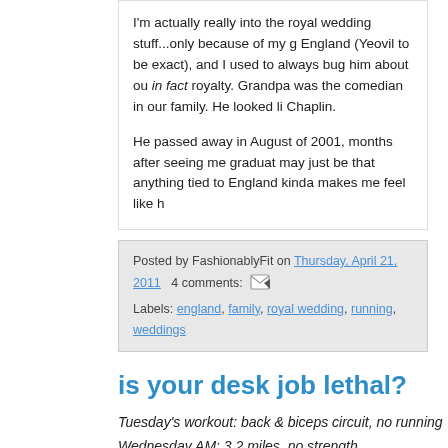I'm actually really into the royal wedding stuff...only because of my g England (Yeovil to be exact), and I used to always bug him about ou in fact royalty. Grandpa was the comedian in our family. He looked li Chaplin.
He passed away in August of 2001, months after seeing me graduat may just be that anything tied to England kinda makes me feel like h
Posted by FashionablyFit on Thursday, April 21, 2011   4 comments:
Labels: england, family, royal wedding, running, weddings
is your desk job lethal?
Tuesday's workout: back & biceps circuit, no running
Wednesday AM: 3.2 miles, no strength
It was nice reading the comments on yesterday's post regarding pre nice to get an AM workout in today before work. It really jump-starte And let me just say now that the th...